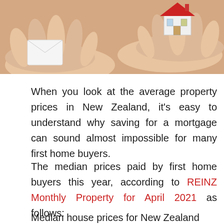[Figure (photo): Two hands holding a small house model between them, suggesting property transfer or mortgage concept]
When you look at the average property prices in New Zealand, it’s easy to understand why saving for a mortgage can sound almost impossible for many first home buyers.
The median prices paid by first home buyers this year, according to REINZ Monthly Property for April 2021 as follows:
Median house prices for New Zealand